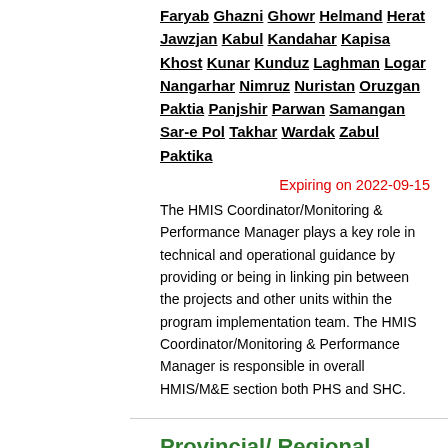Faryab Ghazni Ghowr Helmand Herat Jawzjan Kabul Kandahar Kapisa Khost Kunar Kunduz Laghman Logar Nangarhar Nimruz Nuristan Oruzgan Paktia Panjshir Parwan Samangan Sar-e Pol Takhar Wardak Zabul Paktika
Expiring on 2022-09-15
The HMIS Coordinator/Monitoring & Performance Manager plays a key role in technical and operational guidance by providing or being in linking pin between the projects and other units within the program implementation team. The HMIS Coordinator/Monitoring & Performance Manager is responsible in overall HMIS/M&E section both PHS and SHC.
Provincial/ Regional Hospital Director
HealthNet TPO - Badakhshan Badghis